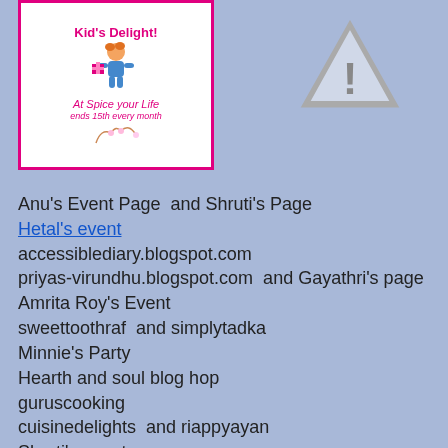[Figure (illustration): Kid's Delight event banner with a cartoon child and gift, text reads 'Kid's Delight! At Spice your Life ends 15th every month', pink border on white background]
[Figure (other): Warning triangle icon with exclamation mark, gray/silver style]
Anu's Event Page  and Shruti's Page
Hetal's event
accessiblediary.blogspot.com
priyas-virundhu.blogspot.com  and Gayathri's page
Amrita Roy's Event
sweettoothraf  and simplytadka
Minnie's Party
Hearth and soul blog hop
guruscooking
cuisinedelights  and riappyayan
Shruti's event
shrutisrasoi and Priya's Page
Vardhini's event
Nupur's Page  and  nandooskitchen